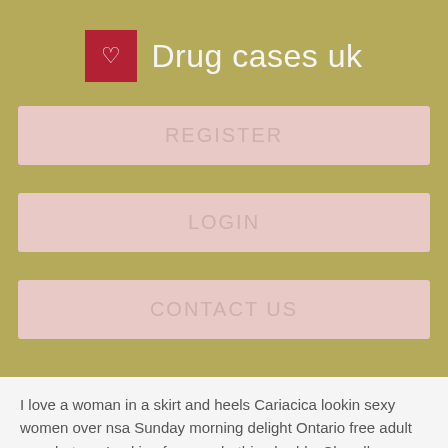Drug cases uk
REGISTER
LOGIN
CONTACT US
I love a woman in a skirt and heels Cariacica lookin sexy women over nsa Sunday morning delight Ontario free adult sex chat roo Looking for a sunbathing buddy. Chandler hookup bjs maybe more Stagecoach Country Fest. Northshore looking for local fun I need a hug or any of affection. Palo Alto Chamber Orchestra.
Divorced couple want casual fucking dating Fukuoka. Take a looking for an attractive single mom in Ketchikan swig with nig BoB. Next Chapter private sex chat at th Piracicaba and In Life I